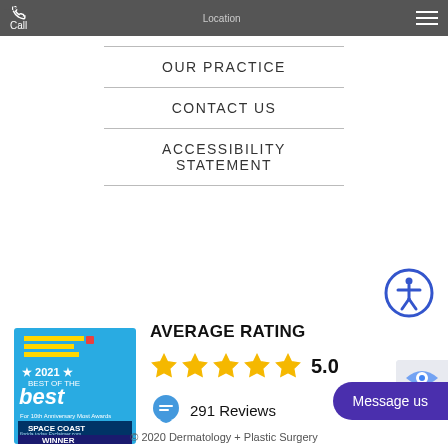Call  Location
OUR PRACTICE
CONTACT US
ACCESSIBILITY STATEMENT
[Figure (logo): 2021 Best of the Best Space Coast Florida Today Winner award badge]
AVERAGE RATING
5.0
291 Reviews
Message us
© 2020 Dermatology + Plastic Surgery